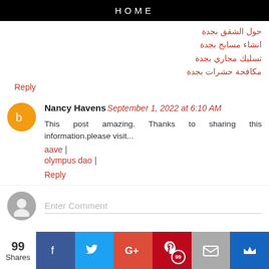HOME
حول الشقق بجدة
انشاء مسابح بجدة
تسليك مجاري بجدة
مكافحة حشرات بجدة
Reply
Nancy Havens September 1, 2022 at 6:10 AM
This post amazing. Thanks to sharing this information.please visit... aave | olympus dao |
Reply
Enter Comment
99 Shares